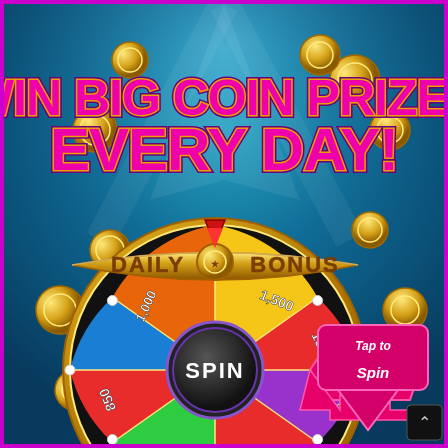[Figure (illustration): Casino-style promotional graphic with a teal/blue spotlight background scattered with gold coins. Large bold magenta text with gold outline reads 'WIN BIG COIN PRIZES EVERY DAY!' at the top. In the lower half, a colorful spinning prize wheel labeled 'DAILY BONUS' in gold on a gold banner across the top of the wheel. The wheel has colored segments with coin values: 400, 1000, 850, 1500, 150, 100, 250, 300, and more. A red arrow pointer sits at the top of the wheel. A pink magenta arrow badge on the right reads 'Tap to Spin' in white italic text. A black circular button at the bottom center of the wheel reads 'SPIN' in white bold text. A small dark scroll-up button with a caret is in the bottom right corner.]